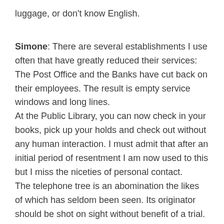luggage, or don't know English.
Simone: There are several establishments I use often that have greatly reduced their services: The Post Office and the Banks have cut back on their employees. The result is empty service windows and long lines.
At the Public Library, you can now check in your books, pick up your holds and check out without any human interaction. I must admit that after an initial period of resentment I am now used to this but I miss the niceties of personal contact.
The telephone tree is an abomination the likes of which has seldom been seen. Its originator should be shot on sight without benefit of a trial. Who in their right senses would replace contact with a warm human voice with even a modicum of intelligence, by prearranged messages that have no relation to your information needed? It is a dehumanizing experience.